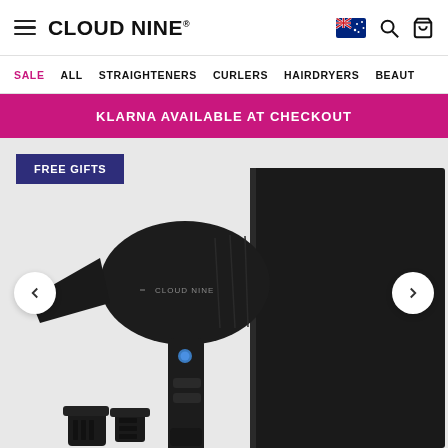CLOUD NINE
SALE  ALL  STRAIGHTENERS  CURLERS  HAIRDRYERS  BEAUT
KLARNA AVAILABLE AT CHECKOUT
FREE GIFTS
[Figure (photo): Cloud Nine The Airshot hair dryer in matte black with two nozzle attachments, alongside a black Cloud Nine branded box with copper/gold lettering reading CLOUD NINE THE AIRSHOT. Navigation arrows on left and right sides of the image.]